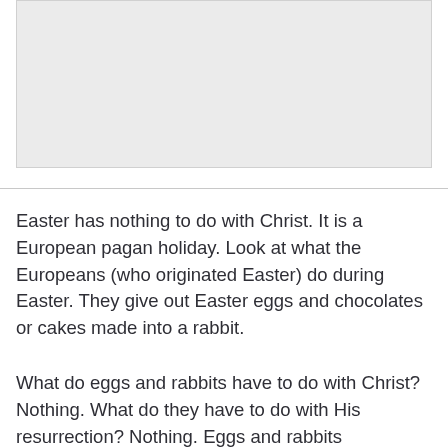[Figure (other): Gray rectangular image placeholder area at top of page]
Easter has nothing to do with Christ. It is a European pagan holiday. Look at what the Europeans (who originated Easter) do during Easter. They give out Easter eggs and chocolates or cakes made into a rabbit.
What do eggs and rabbits have to do with Christ? Nothing. What do they have to do with His resurrection? Nothing. Eggs and rabbits